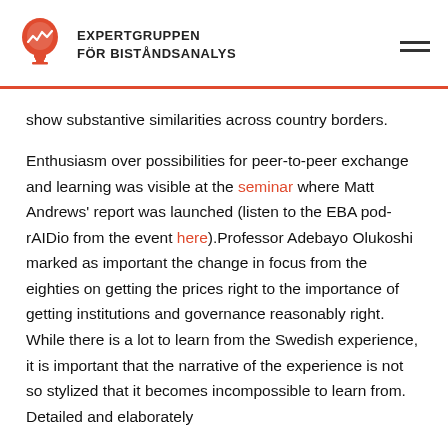EXPERTGRUPPEN FÖR BISTÅNDSANALYS
show substantive similarities across country borders.
Enthusiasm over possibilities for peer-to-peer exchange and learning was visible at the seminar where Matt Andrews' report was launched (listen to the EBA pod-rAIDio from the event here).Professor Adebayo Olukoshi marked as important the change in focus from the eighties on getting the prices right to the importance of getting institutions and governance reasonably right. While there is a lot to learn from the Swedish experience, it is important that the narrative of the experience is not so stylized that it becomes incompossible to learn from. Detailed and elaborately...